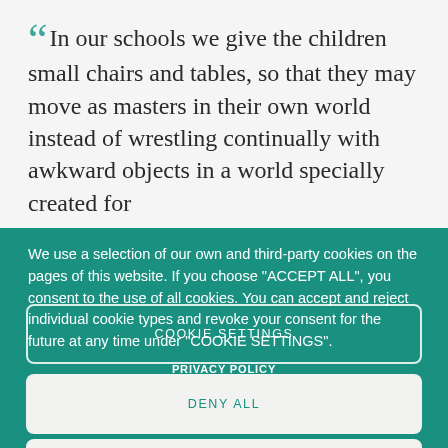“ In our schools we give the children small chairs and tables, so that they may move as masters in their own world instead of wrestling continually with awkward objects in a world specially created for
We use a selection of our own and third-party cookies on the pages of this website. If you choose "ACCEPT ALL", you consent to the use of all cookies. You can accept and reject individual cookie types and revoke your consent for the future at any time under "COOKIE SETTINGS".
PRIVACY POLICY
COOKIE SETTINGS
DENY ALL
ACCEPT ALL